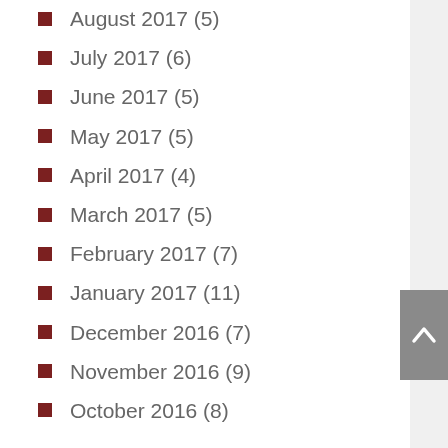August 2017 (5)
July 2017 (6)
June 2017 (5)
May 2017 (5)
April 2017 (4)
March 2017 (5)
February 2017 (7)
January 2017 (11)
December 2016 (7)
November 2016 (9)
October 2016 (8)